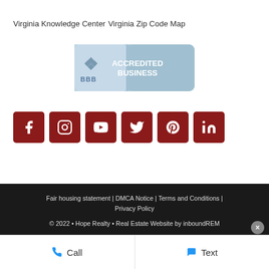Virginia Knowledge Center
Virginia Zip Code Map
[Figure (logo): BBB Accredited Business badge with blue background and white text]
[Figure (infographic): Row of six dark red social media icon buttons: Facebook, Instagram, YouTube, Twitter, Pinterest, LinkedIn]
Fair housing statement | DMCA Notice | Terms and Conditions | Privacy Policy
© 2022 • Hope Realty • Real Estate Website by inboundREM
[Figure (infographic): Bottom bar with Call and Text buttons and a close X button]